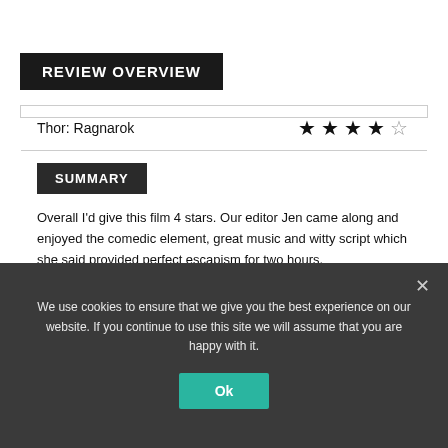REVIEW OVERVIEW
Thor: Ragnarok ★★★★☆
SUMMARY
Overall I'd give this film 4 stars. Our editor Jen came along and enjoyed the comedic element, great music and witty script which she said provided perfect escapism for two hours.
We use cookies to ensure that we give you the best experience on our website. If you continue to use this site we will assume that you are happy with it.